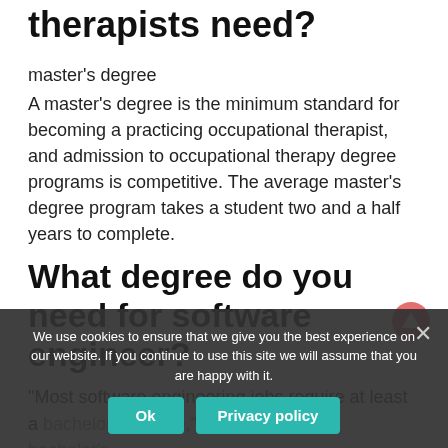therapists need?
master's degree
A master's degree is the minimum standard for becoming a practicing occupational therapist, and admission to occupational therapy degree programs is competitive. The average master's degree program takes a student two and a half years to complete.
What degree do you need for software engineer?
“Most software engineering jobs require at least a bachelor’s degree,” Frederick said. A bachelor’s studying computer science or other STEM fields such as math, sc... or ... could help as well.
We use cookies to ensure that we give you the best experience on our website. If you continue to use this site we will assume that you are happy with it.